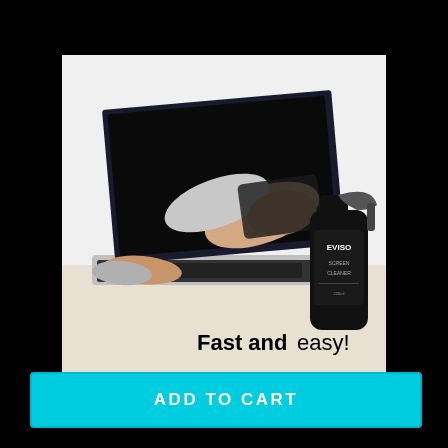[Figure (photo): Person cleaning a laptop screen with a dark cloth, with a black EVISO screen cleaner spray bottle in the foreground on a white surface. Text overlay reads 'Fast and easy!' in bold and regular weight.]
ADD TO CART